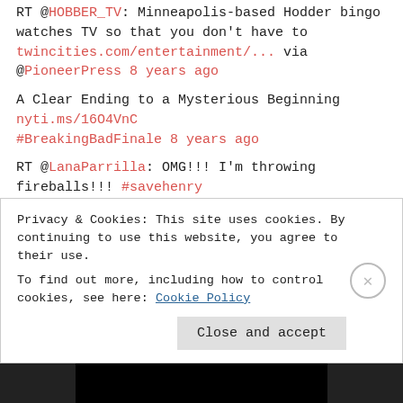RT @HOBBER_TV: Minneapolis-based Hodder bingo watches TV so that you don't have to twincities.com/entertainment/... via @PioneerPress 8 years ago
A Clear Ending to a Mysterious Beginning nyti.ms/16O4VnC #BreakingBadFinale 8 years ago
RT @LanaParrilla: OMG!!! I'm throwing fireballs!!! #savehenry #AskOnce 8 years ago
#WatchingSocial guide to @OnceABC. How/who to follow on Twitter, Facebook, more. #OnceUponATime 8 years ago
RT @eonline: Once Upon a Time Spoilers: 10 Enchanted Answers to Your Season Three Questions! eonli.ne/18YQEv8 8 years ago
RT @kerrywashington: It is #Scandal Thursday!!!!! 7 days to go... Are
Privacy & Cookies: This site uses cookies. By continuing to use this website, you agree to their use.
To find out more, including how to control cookies, see here: Cookie Policy